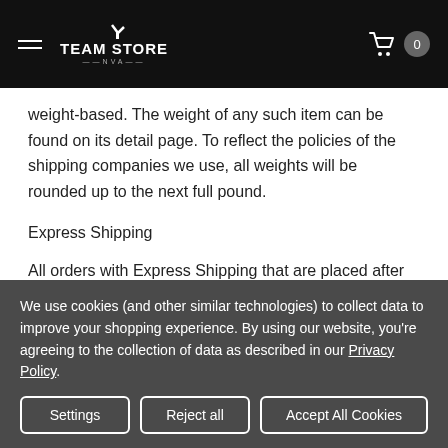TEAM STORE
weight-based. The weight of any such item can be found on its detail page. To reflect the policies of the shipping companies we use, all weights will be rounded up to the next full pound.
Express Shipping
All orders with Express Shipping that are placed after 10:30 AM MST will be shipped out the following day.
We use cookies (and other similar technologies) to collect data to improve your shopping experience. By using our website, you're agreeing to the collection of data as described in our Privacy Policy.
Settings | Reject all | Accept All Cookies